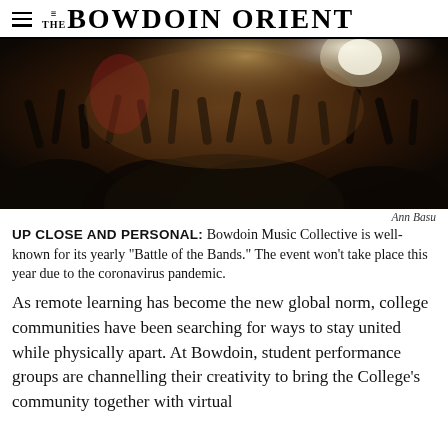THE BOWDOIN ORIENT
[Figure (photo): Crowd of people at a concert with arms raised, dark warm lighting, energetic atmosphere]
Ann Basu
UP CLOSE AND PERSONAL: Bowdoin Music Collective is well-known for its yearly "Battle of the Bands." The event won't take place this year due to the coronavirus pandemic.
As remote learning has become the new global norm, college communities have been searching for ways to stay united while physically apart. At Bowdoin, student performance groups are channelling their creativity to bring the College's community together with virtual